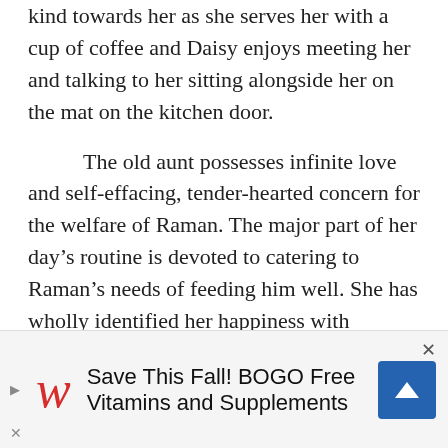kind towards her as she serves her with a cup of coffee and Daisy enjoys meeting her and talking to her sitting alongside her on the mat on the kitchen door.
The old aunt possesses infinite love and self-effacing, tender-hearted concern for the welfare of Raman. The major part of her day's routine is devoted to catering to Raman's needs of feeding him well. She has wholly identified her happiness with Raman's happiness. After his return from three week's itinerary with Daisy through villages surrounding Malgudi in connection with family planning programme, Raman remains
[Figure (screenshot): Walgreens advertisement banner: 'Save This Fall! BOGO Free Vitamins and Supplements' with Walgreens cursive W logo in red, a blue scroll-up button, a close X button, and navigation arrows.]